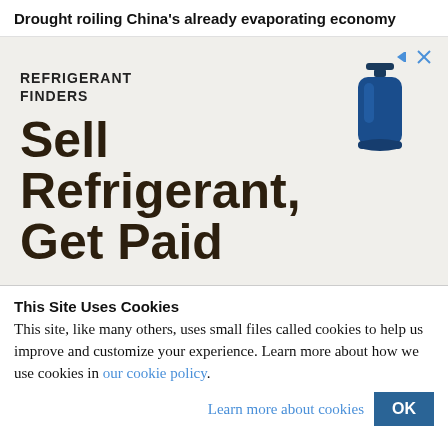Drought roiling China's already evaporating economy
[Figure (advertisement): Refrigerant Finders advertisement with gas cylinder icon and text 'Sell Refrigerant, Get Paid']
This Site Uses Cookies
This site, like many others, uses small files called cookies to help us improve and customize your experience. Learn more about how we use cookies in our cookie policy.
Learn more about cookies  OK